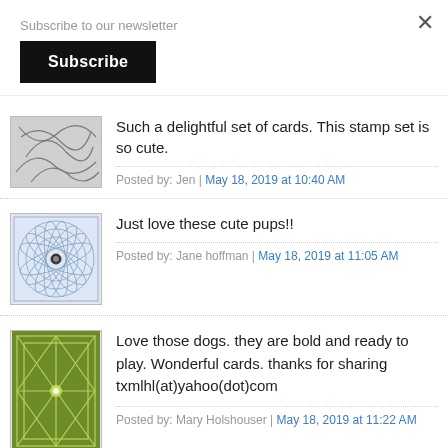Subscribe to our newsletter
Subscribe
Such a delightful set of cards. This stamp set is so cute.
Posted by: Jen | May 18, 2019 at 10:40 AM
Just love these cute pups!!
Posted by: Jane hoffman | May 18, 2019 at 11:05 AM
Love those dogs. they are bold and ready to play. Wonderful cards. thanks for sharing txmlhl(at)yahoo(dot)com
Posted by: Mary Holshouser | May 18, 2019 at 11:22 AM
So much fun.